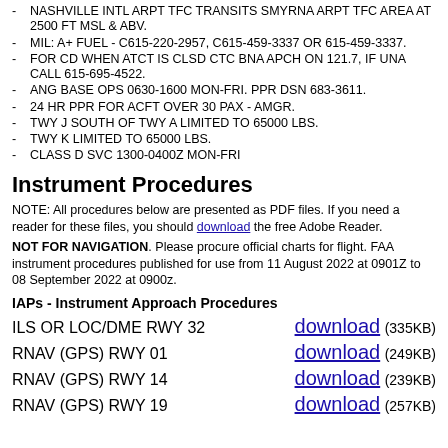NASHVILLE INTL ARPT TFC TRANSITS SMYRNA ARPT TFC AREA AT 2500 FT MSL & ABV.
MIL: A+ FUEL - C615-220-2957, C615-459-3337 OR 615-459-3337.
FOR CD WHEN ATCT IS CLSD CTC BNA APCH ON 121.7, IF UNA CALL 615-695-4522.
ANG BASE OPS 0630-1600 MON-FRI. PPR DSN 683-3611.
24 HR PPR FOR ACFT OVER 30 PAX - AMGR.
TWY J SOUTH OF TWY A LIMITED TO 65000 LBS.
TWY K LIMITED TO 65000 LBS.
CLASS D SVC 1300-0400Z MON-FRI
Instrument Procedures
NOTE: All procedures below are presented as PDF files. If you need a reader for these files, you should download the free Adobe Reader.
NOT FOR NAVIGATION. Please procure official charts for flight. FAA instrument procedures published for use from 11 August 2022 at 0901Z to 08 September 2022 at 0900z.
IAPs - Instrument Approach Procedures
ILS OR LOC/DME RWY 32 — download (335KB)
RNAV (GPS) RWY 01 — download (249KB)
RNAV (GPS) RWY 14 — download (239KB)
RNAV (GPS) RWY 19 — download (257KB)